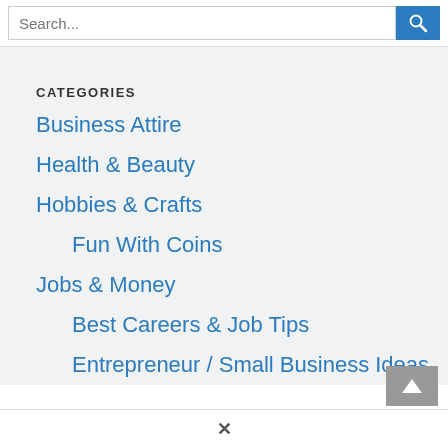Search...
CATEGORIES
Business Attire
Health & Beauty
Hobbies & Crafts
Fun With Coins
Jobs & Money
Best Careers & Job Tips
Entrepreneur / Small Business Ideas